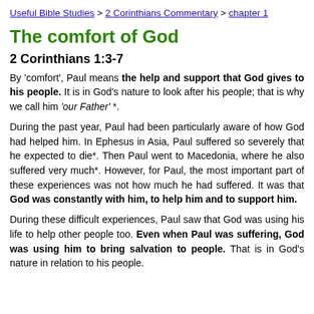Useful Bible Studies > 2 Corinthians Commentary > chapter 1
The comfort of God
2 Corinthians 1:3-7
By 'comfort', Paul means the help and support that God gives to his people. It is in God's nature to look after his people; that is why we call him 'our Father' *.
During the past year, Paul had been particularly aware of how God had helped him. In Ephesus in Asia, Paul suffered so severely that he expected to die*. Then Paul went to Macedonia, where he also suffered very much*. However, for Paul, the most important part of these experiences was not how much he had suffered. It was that God was constantly with him, to help him and to support him.
During these difficult experiences, Paul saw that God was using his life to help other people too. Even when Paul was suffering, God was using him to bring salvation to people. That is in God's nature in relation to his people.